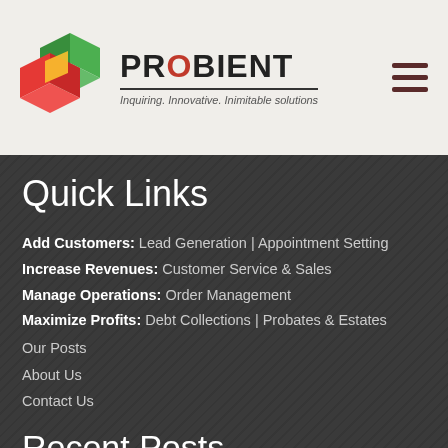PROBIENT — Inquiring. Innovative. Inimitable solutions
Quick Links
Add Customers: Lead Generation | Appointment Setting
Increase Revenues: Customer Service & Sales
Manage Operations: Order Management
Maximize Profits: Debt Collections | Probates & Estates
Our Posts
About Us
Contact Us
Recent Posts
Are you ready for 40 Million Baby Boomers entering the Senior Market?
The fastest growing market segment of the coming decade has more